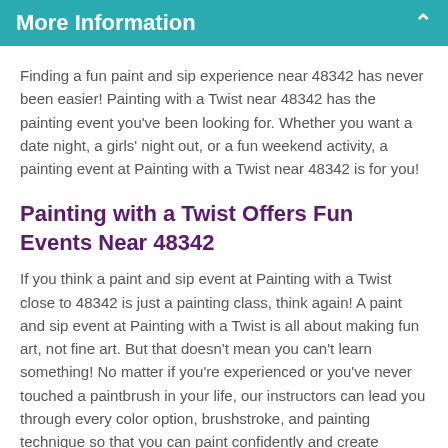More Information
Finding a fun paint and sip experience near 48342 has never been easier! Painting with a Twist near 48342 has the painting event you've been looking for. Whether you want a date night, a girls' night out, or a fun weekend activity, a painting event at Painting with a Twist near 48342 is for you!
Painting with a Twist Offers Fun Events Near 48342
If you think a paint and sip event at Painting with a Twist close to 48342 is just a painting class, think again! A paint and sip event at Painting with a Twist is all about making fun art, not fine art. But that doesn't mean you can't learn something! No matter if you're experienced or you've never touched a paintbrush in your life, our instructors can lead you through every color option, brushstroke, and painting technique so that you can paint confidently and create something totally you. Find a seat at a scheduled painting event near 48342 today!